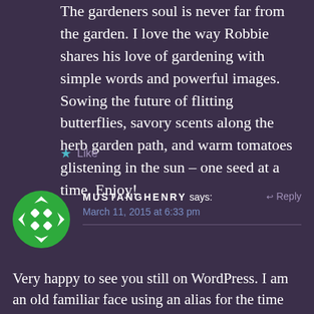The gardeners soul is never far from the garden. I love the way Robbie shares his love of gardening with simple words and powerful images. Sowing the future of flitting butterflies, savory scents along the herb garden path, and warm tomatoes glistening in the sun – one seed at a time. Enjoy!
★ Like
MUSTANGHENRY says: ↩ Reply
March 11, 2015 at 6:33 pm
Very happy to see you still on WordPress. I am an old familiar face using an alias for the time being. But I